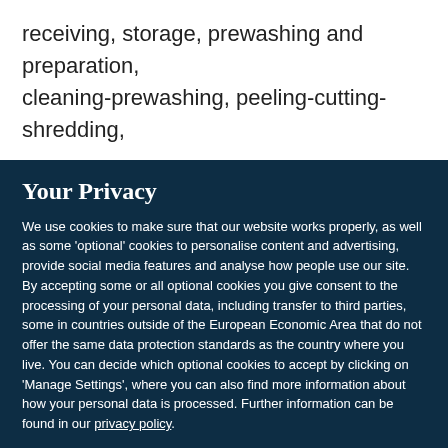receiving, storage, prewashing and preparation, cleaning-prewashing, peeling-cutting-shredding,
Your Privacy
We use cookies to make sure that our website works properly, as well as some 'optional' cookies to personalise content and advertising, provide social media features and analyse how people use our site. By accepting some or all optional cookies you give consent to the processing of your personal data, including transfer to third parties, some in countries outside of the European Economic Area that do not offer the same data protection standards as the country where you live. You can decide which optional cookies to accept by clicking on 'Manage Settings', where you can also find more information about how your personal data is processed. Further information can be found in our privacy policy.
Accept all cookies
Manage preferences